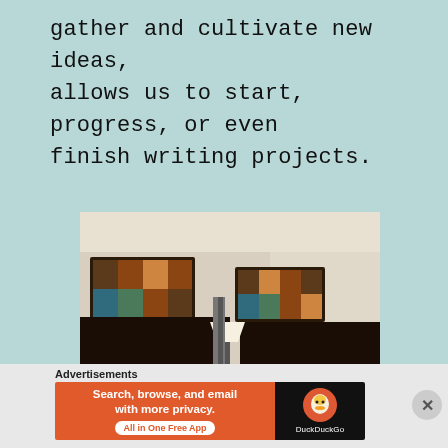gather and cultivate new ideas, allows us to start, progress, or even finish writing projects.
[Figure (photo): Hotel room interior with two dark-headboard beds, a lamp between them, two framed colorful artworks on the wall, and a wooden bed tray in the foreground. The room has a beige/cream wall and dark bedding.]
Advertisements
[Figure (screenshot): DuckDuckGo advertisement banner: orange section with text 'Search, browse, and email with more privacy. All in One Free App' and black section with DuckDuckGo logo.]